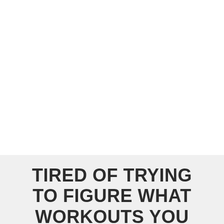TIRED OF TRYING TO FIGURE WHAT WORKOUTS YOU